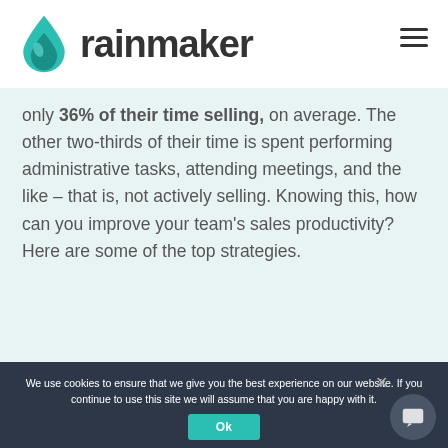[Figure (logo): Rainmaker logo with teal water drop icon and 'rainmaker' wordmark in dark gray, plus hamburger menu icon top right]
only 36% of their time selling, on average. The other two-thirds of their time is spent performing administrative tasks, attending meetings, and the like – that is, not actively selling. Knowing this, how can you improve your team's sales productivity? Here are some of the top strategies.
We use cookies to ensure that we give you the best experience on our website. If you continue to use this site we will assume that you are happy with it.